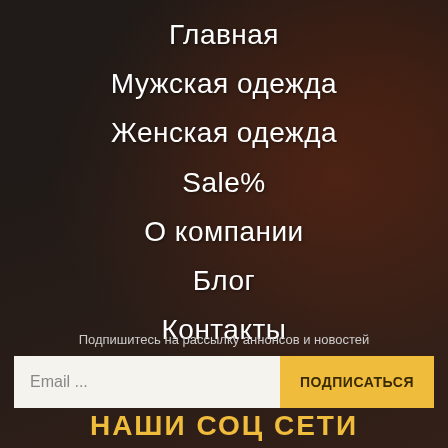Главная
Мужская одежда
Женская одежда
Sale%
О компании
Блог
Контакты
Подпишитесь на рассылку аннонсов и новостей
Email ...  ПОДПИСАТЬСЯ
НАШИ СОЦ СЕТИ